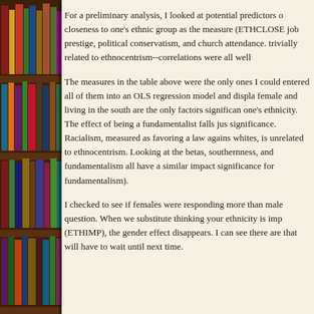[Figure (photo): Bookshelf with colorful books on the left side of the page]
For a preliminary analysis, I looked at potential predictors of closeness to one's ethnic group as the measure (ETHCLOSE): job prestige, political conservatism, and church attendance. trivially related to ethnocentrism--correlations were all well
The measures in the table above were the only ones I could entered all of them into an OLS regression model and displa female and living in the south are the only factors significan one's ethnicity. The effect of being a fundamentalist falls jus significance. Racialism, measured as favoring a law agains whites, is unrelated to ethnocentrism. Looking at the betas, southernness, and fundamentalism all have a similar impact significance for fundamentalism).
I checked to see if females were responding more than male question. When we substitute thinking your ethnicity is imp (ETHIMP), the gender effect disappears. I can see there are that will have to wait until next time.